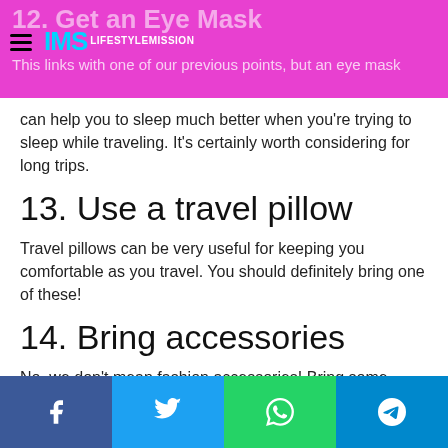12. Get an Eye Mask — IMS Lifestyle Mission header
can help you to sleep much better when you're trying to sleep while traveling. It's certainly worth considering for long trips.
13. Use a travel pillow
Travel pillows can be very useful for keeping you comfortable as you travel. You should definitely bring one of these!
14. Bring accessories
No, we don't mean fashion accessories! Bring some travel accessories with you, such as a travel blanket or a portable charger. They can make a big difference.
Facebook | Twitter | WhatsApp | Telegram share buttons